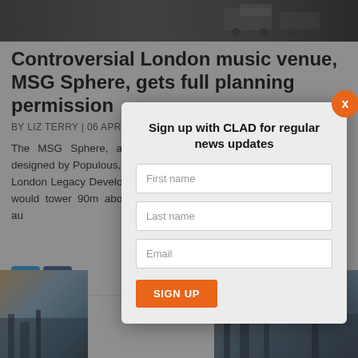[Figure (photo): Dark cityscape or street photo at the top of the article]
Controversial London music venue, MSG Sphere, gets full planning permission
BY LIZ TERRY | 06 APR 2022
The MSG Sphere, a controversial auditorium and music globe designed by Populous, has been given full planning permission by the London Legacy Development Corporation (LLDC). If built, the Sphere would tower 90m above Stratford, London, and in addition to the au...s, cafés, shops an...highest resolution
[Figure (screenshot): Modal popup: Sign up with CLAD for regular news updates, with First name, Last name, Email fields and SIGN UP button]
[Figure (photo): Bottom strip showing two cityscape photographs]